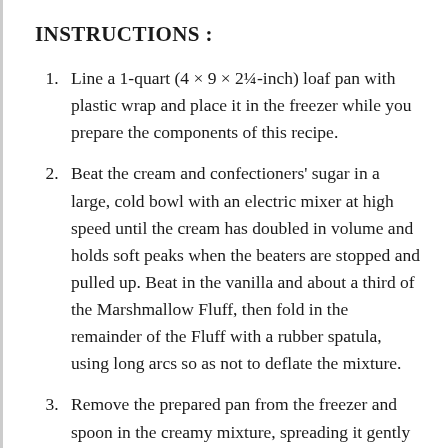INSTRUCTIONS :
Line a 1-quart (4 × 9 × 2¼-inch) loaf pan with plastic wrap and place it in the freezer while you prepare the components of this recipe.
Beat the cream and confectioners' sugar in a large, cold bowl with an electric mixer at high speed until the cream has doubled in volume and holds soft peaks when the beaters are stopped and pulled up. Beat in the vanilla and about a third of the Marshmallow Fluff, then fold in the remainder of the Fluff with a rubber spatula, using long arcs so as not to deflate the mixture.
Remove the prepared pan from the freezer and spoon in the creamy mixture, spreading it gently to the corners with a rubber spatula. Freeze until